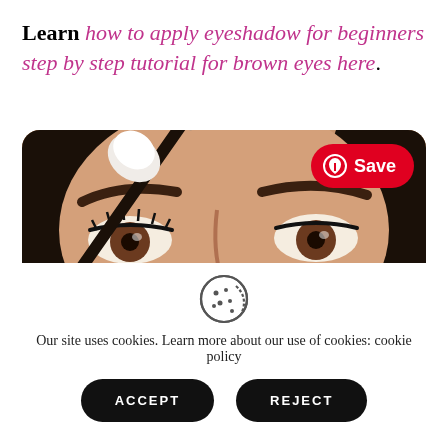Learn how to apply eyeshadow for beginners step by step tutorial for brown eyes here.
[Figure (photo): Close-up photo of a woman applying eyeshadow with a makeup brush near her eye. The woman has brown eyes and dark hair. A Pinterest 'Save' button overlay appears in the top right corner of the image.]
Our site uses cookies. Learn more about our use of cookies: cookie policy
ACCEPT
REJECT